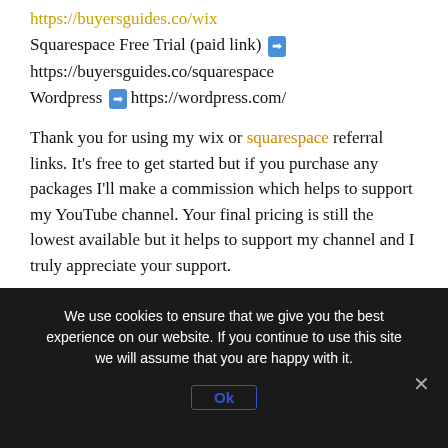https://buyersguides.co/wix
Squarespace Free Trial (paid link) ➡ https://buyersguides.co/squarespace
Wordpress ➡ https://wordpress.com/
Thank you for using my wix or squarespace referral links. It's free to get started but if you purchase any packages I'll make a commission which helps to support my YouTube channel. Your final pricing is still the lowest available but it helps to support my channel and I truly appreciate your support.
Synopsis: If you want the easiest method go with Squarespace, if you want to be able to customize
We use cookies to ensure that we give you the best experience on our website. If you continue to use this site we will assume that you are happy with it.
Ok